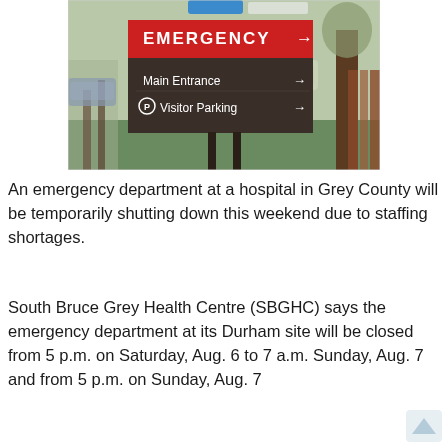[Figure (photo): Photograph of a hospital directional sign with three sections: red 'EMERGENCY →' at top, dark brown panel with 'Main Entrance →' and '(P) Visitor Parking →' below, photographed outdoors near trees and parked cars.]
An emergency department at a hospital in Grey County will be temporarily shutting down this weekend due to staffing shortages.
South Bruce Grey Health Centre (SBGHC) says the emergency department at its Durham site will be closed from 5 p.m. on Saturday, Aug. 6 to 7 a.m. Sunday, Aug. 7 and from 5 p.m. on Sunday, Aug. 7 to 7 a.m. on Monday, Aug. 8.
“All efforts to find staffing for the Emergency Department have been undertaken without success,” SBGHC wrote in a statement on its